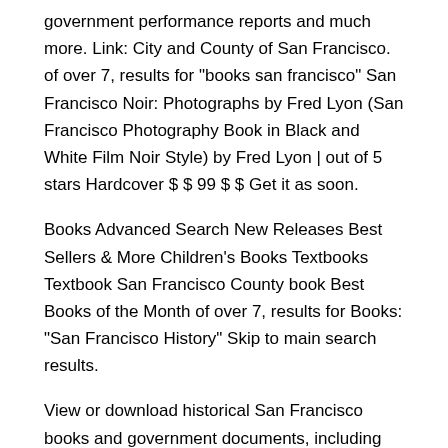government performance reports and much more. Link: City and County of San Francisco. of over 7, results for "books san francisco" San Francisco Noir: Photographs by Fred Lyon (San Francisco Photography Book in Black and White Film Noir Style) by Fred Lyon | out of 5 stars Hardcover $ $ 99 $ $ Get it as soon.
Books Advanced Search New Releases Best Sellers & More Children's Books Textbooks Textbook San Francisco County book Best Books of the Month of over 7, results for Books: "San Francisco History" Skip to main search results.
View or download historical San Francisco books and government documents, including the popular City Directories and Municipal Reports. The Classics (Open Library) Over million free classic eBooks from the Internet Archive including great works in the public. Welcome to the website of San Francisco Book Company.
I'd like to be notified San Francisco County book new arrivals in the following categories. Check all categories that are of interest to you. Book Reviews, San Francisco Review of Books, Tuesday, Book